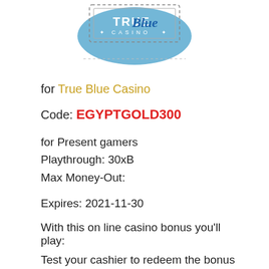[Figure (logo): True Blue Casino logo with Australia map silhouette in blue, text TRUE Blue CASINO in white on blue background]
for True Blue Casino
Code: EGYPTGOLD300
for Present gamers
Playthrough: 30xB
Max Money-Out:
Expires: 2021-11-30
With this on line casino bonus you'll play:
Test your cashier to redeem the bonus